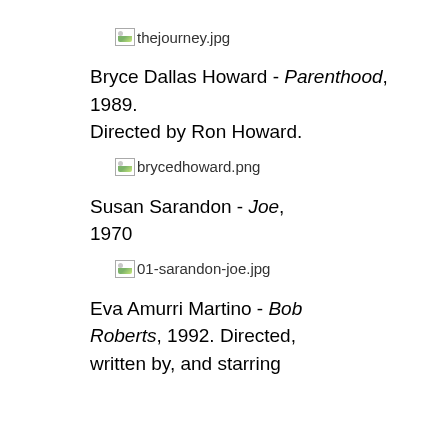[Figure (other): Broken image placeholder for thejourney.jpg]
Bryce Dallas Howard - Parenthood, 1989. Directed by Ron Howard.
[Figure (other): Broken image placeholder for brycedhoward.png]
Susan Sarandon - Joe, 1970
[Figure (other): Broken image placeholder for 01-sarandon-joe.jpg]
Eva Amurri Martino - Bob Roberts, 1992. Directed, written by, and starring